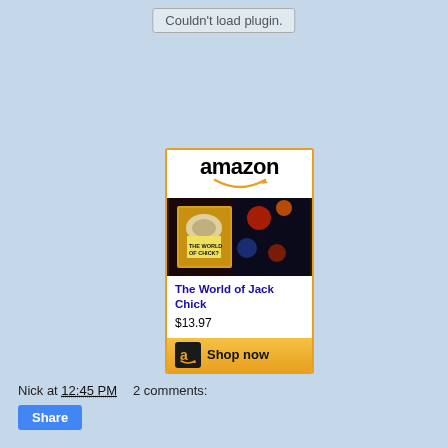Couldn't load plugin.
[Figure (other): Amazon product widget showing 'The World of Jack Chick' book for $13.97 with Shop now button]
Nick at 12:45 PM    2 comments:
Share